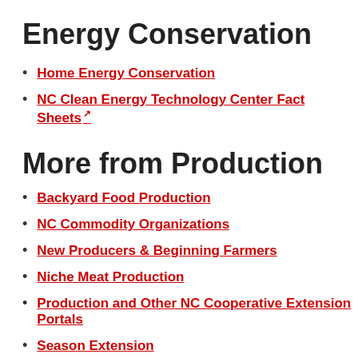Energy Conservation
Home Energy Conservation
NC Clean Energy Technology Center Fact Sheets
More from Production
Backyard Food Production
NC Commodity Organizations
New Producers & Beginning Farmers
Niche Meat Production
Production and Other NC Cooperative Extension Portals
Season Extension